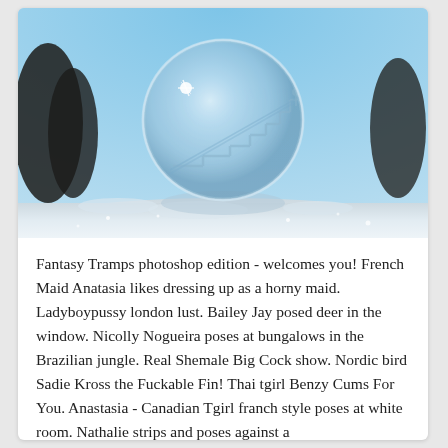[Figure (photo): A frozen soap bubble or glass sphere sitting on a snowy surface, with a staircase pattern visible inside the globe, set against a blue sky background with dark tree silhouettes.]
Fantasy Tramps photoshop edition - welcomes you! French Maid Anatasia likes dressing up as a horny maid. Ladyboypussy london lust. Bailey Jay posed deer in the window. Nicolly Nogueira poses at bungalows in the Brazilian jungle. Real Shemale Big Cock show. Nordic bird Sadie Kross the Fuckable Fin! Thai tgirl Benzy Cums For You. Anastasia - Canadian Tgirl franch style poses at white room. Nathalie strips and poses against a